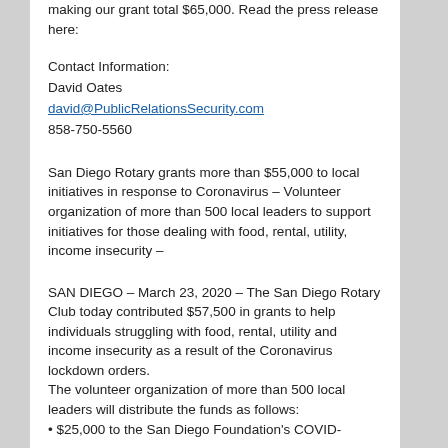making our grant total $65,000. Read the press release here:
Contact Information:
David Oates
david@PublicRelationsSecurity.com
858-750-5560
San Diego Rotary grants more than $55,000 to local initiatives in response to Coronavirus – Volunteer organization of more than 500 local leaders to support initiatives for those dealing with food, rental, utility, income insecurity –
SAN DIEGO – March 23, 2020 – The San Diego Rotary Club today contributed $57,500 in grants to help individuals struggling with food, rental, utility and income insecurity as a result of the Coronavirus lockdown orders.
The volunteer organization of more than 500 local leaders will distribute the funds as follows:
• $25,000 to the San Diego Foundation's COVID-